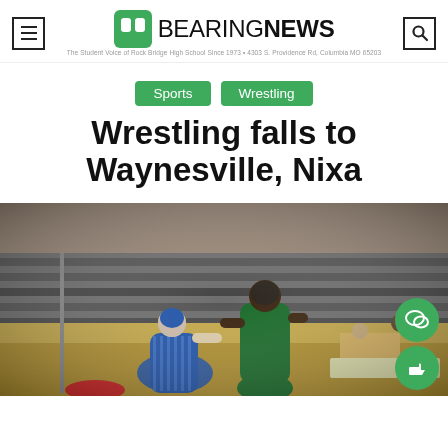BEARING NEWS - The Student Voice of Rock Bridge High School Since 1973 • 4303 S. Providence Rd, Columbia MO 65203
Sports  Wrestling
Wrestling falls to Waynesville, Nixa
[Figure (photo): Two wrestlers competing on a gym mat — one in blue striped singlet, one in green singlet — in a school gymnasium with bleachers and brick walls in the background. Two green circular FAB buttons (comment and like) are visible on the right side.]